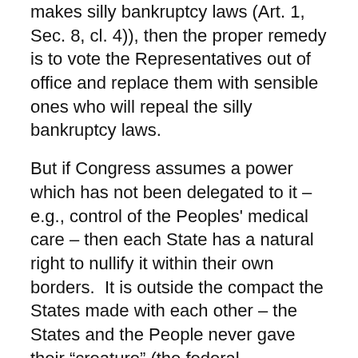makes silly bankruptcy laws (Art. 1, Sec. 8, cl. 4)), then the proper remedy is to vote the Representatives out of office and replace them with sensible ones who will repeal the silly bankruptcy laws.
But if Congress assumes a power which has not been delegated to it – e.g., control of the Peoples' medical care – then each State has a natural right to nullify it within their own borders.  It is outside the compact the States made with each other – the States and the People never gave their “creature” (the federal government) power over their medical care!  Without Nullification, the States and the People would be under the absolute & unlimited control of the federal government.
8 Remember! We expect the lowest-ranking soldier to refuse to obey an unlawful order even when given by a